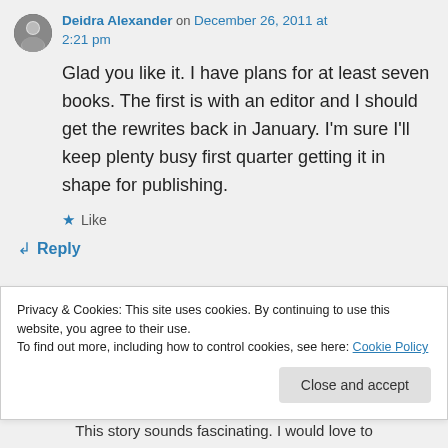Deidra Alexander on December 26, 2011 at 2:21 pm
Glad you like it. I have plans for at least seven books. The first is with an editor and I should get the rewrites back in January. I'm sure I'll keep plenty busy first quarter getting it in shape for publishing.
★ Like
↪ Reply
Privacy & Cookies: This site uses cookies. By continuing to use this website, you agree to their use. To find out more, including how to control cookies, see here: Cookie Policy
Close and accept
This story sounds fascinating. I would love to